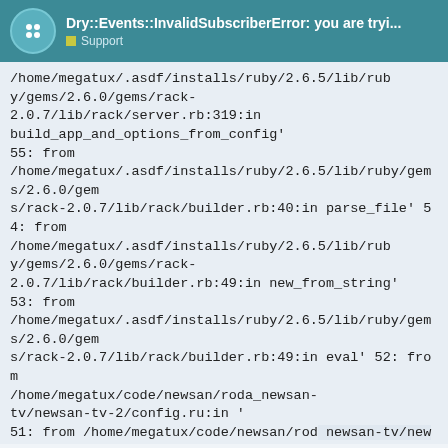Dry::Events::InvalidSubscriberError: you are tryi... Support
/home/megatux/.asdf/installs/ruby/2.6.5/lib/ruby/gems/2.6.0/gems/rack-2.0.7/lib/rack/server.rb:319:in build_app_and_options_from_config'
55: from /home/megatux/.asdf/installs/ruby/2.6.5/lib/ruby/gems/2.6.0/gems/rack-2.0.7/lib/rack/builder.rb:40:in parse_file' 54: from /home/megatux/.asdf/installs/ruby/2.6.5/lib/ruby/gems/2.6.0/gems/rack-2.0.7/lib/rack/builder.rb:49:in new_from_string'
53: from /home/megatux/.asdf/installs/ruby/2.6.5/lib/ruby/gems/2.6.0/gems/rack-2.0.7/lib/rack/builder.rb:49:in eval' 52: from /home/megatux/code/newsan/roda_newsan-tv/newsan-tv-2/config.ru:in '
51: from /home/megatux/code/newsan/roda_newsan-tv/newsan-tv-2/config.ru:in new' 50: from
/home/megatux/.asdf/installs/ruby/...
1 / 2